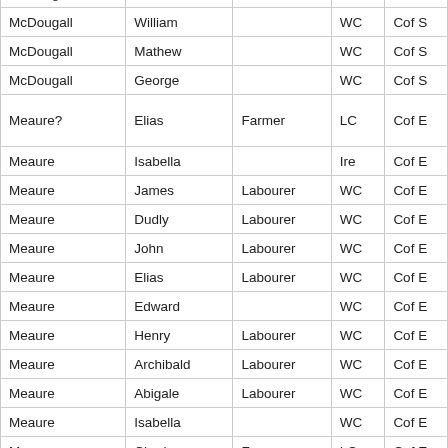| Surname | First Name | Occupation | Col4 | Col5 |
| --- | --- | --- | --- | --- |
| McDougall | Archibald |  | WC | Cof S |
| McDougall | William |  | WC | Cof S |
| McDougall | Mathew |  | WC | Cof S |
| McDougall | George |  | WC | Cof S |
| Meaure? | Elias | Farmer | LC | Cof E |
| Meaure | Isabella |  | Ire | Cof E |
| Meaure | James | Labourer | WC | Cof E |
| Meaure | Dudly | Labourer | WC | Cof E |
| Meaure | John | Labourer | WC | Cof E |
| Meaure | Elias | Labourer | WC | Cof E |
| Meaure | Edward |  | WC | Cof E |
| Meaure | Henry | Labourer | WC | Cof E |
| Meaure | Archibald | Labourer | WC | Cof E |
| Meaure | Abigale | Labourer | WC | Cof E |
| Meaure | Isabella |  | WC | Cof E |
| Moore | Charles | Farmer | LC | Cof E |
| Moore | Anne |  | WC | Cof E |
| Isabella | Mary |  | WC | Cof E |
| Cardiff | Mary | Servant | WC | RC |
| Scarf | Jane | Servant | WC | Bapt. |
| Prentiers? | Hanora B. | Store | LC | RC |